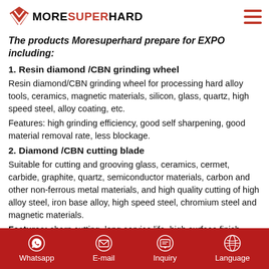MoreSuperHard
The products Moresuperhard prepare for EXPO including:
1. Resin diamond /CBN grinding wheel
Resin diamond/CBN grinding wheel for processing hard alloy tools, ceramics, magnetic materials, silicon, glass, quartz, high speed steel, alloy coating, etc.
Features: high grinding efficiency, good self sharpening, good material removal rate, less blockage.
2. Diamond /CBN cutting blade
Suitable for cutting and grooving glass, ceramics, cermet, carbide, graphite, quartz, semiconductor materials, carbon and other non-ferrous metal materials, and high quality cutting of high alloy steel, iron base alloy, high speed steel, chromium steel and magnetic materials.
Features: sharp cutting, long service life, high surface finish.
Whatsapp  E-mail  Inquiry  Language